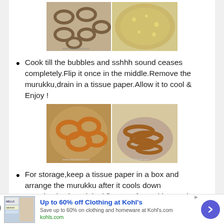[Figure (photo): Two photos side by side: left shows ring-shaped murukku (chakli) arranged on a baking sheet before frying; right shows murukku frying in oil in a pan with bubbles.]
Cook till the bubbles and sshhh sound ceases completely.Flip it once in the middle.Remove the murukku,drain in a tissue paper.Allow it to cool & Enjoy !
[Figure (photo): Two photos side by side: left shows murukku rings frying golden in a pan; right shows cooked golden murukku piled in a bowl.]
For storage,keep a tissue paper in a box and arrange the murukku after it cools down completely.The original flavour of murukku can be felt only by next day.U can store it for months too.It tastes crunchy and yummy.
[Figure (screenshot): Advertisement banner: Up to 60% off Clothing at Kohl's. Save up to 60% on clothing and homeware at Kohl's.com. kohls.com]